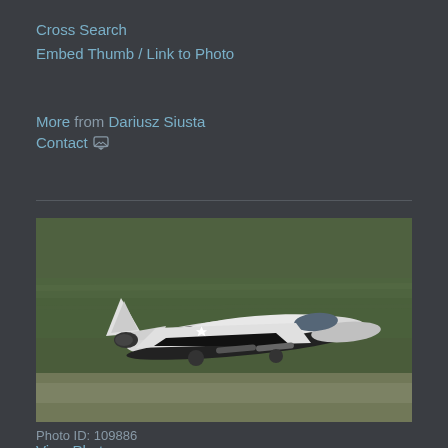Cross Search
Embed Thumb / Link to Photo
More from Dariusz Siusta
Contact
[Figure (photo): A black and white camouflage jet aircraft (MiG-17 or similar) taking off or flying low over a runway, with blurred green trees in the background. The aircraft has a white star marking on its fuselage.]
Photo ID: 109886
View Photo